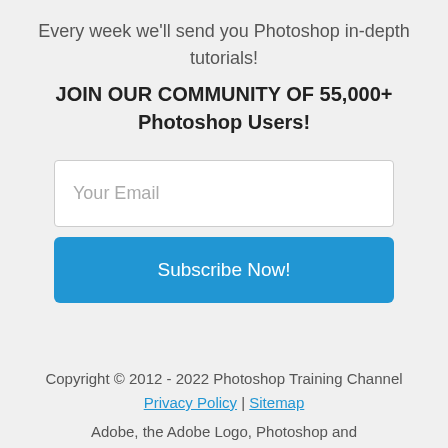Every week we'll send you Photoshop in-depth tutorials!
JOIN OUR COMMUNITY OF 55,000+ Photoshop Users!
Your Email
Subscribe Now!
Copyright © 2012 - 2022 Photoshop Training Channel Privacy Policy | Sitemap
Adobe, the Adobe Logo, Photoshop and